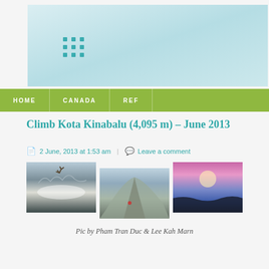[Figure (other): Website header banner with light teal/mint gradient background and teal dot-grid logo]
HOME | CANADA | REF
Climb Kota Kinabalu (4,095 m) – June 2013
2 June, 2013 at 1:53 am  |  Leave a comment
[Figure (photo): Three photos of Kota Kinabalu mountain climb: dead tree branches with cloud sea, rocky mountain peak with climber, pink/purple sunrise sky]
Pic by Pham Tran Duc & Lee Kah Marn